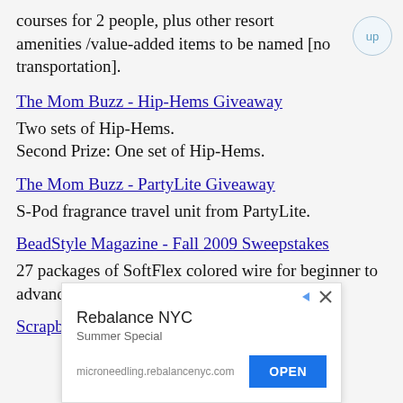courses for 2 people, plus other resort amenities /value-added items to be named [no transportation].
The Mom Buzz - Hip-Hems Giveaway
Two sets of Hip-Hems.
Second Prize: One set of Hip-Hems.
The Mom Buzz - PartyLite Giveaway
S-Pod fragrance travel unit from PartyLite.
BeadStyle Magazine - Fall 2009 Sweepstakes
27 packages of SoftFlex colored wire for beginner to advanced beaders (ARV $352.43).
Scrapbooks Etc. - Scrapbooking Gift
[Figure (other): Advertisement banner for Rebalance NYC Summer Special with microneedling.rebalancenyc.com and OPEN button]